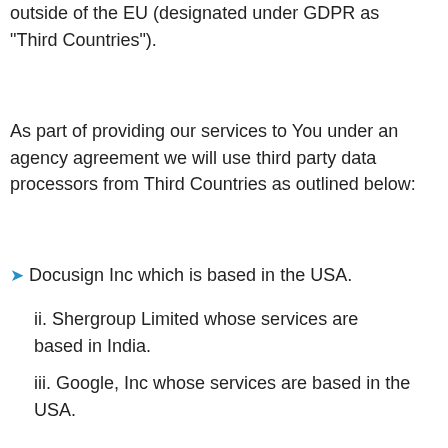outside of the EU (designated under GDPR as "Third Countries").
As part of providing our services to You under an agency agreement we will use third party data processors from Third Countries as outlined below:
Docusign Inc which is based in the USA.
ii. Shergroup Limited whose services are based in India.
iii. Google, Inc whose services are based in the USA.
Spicerhaart has agreed contractual agreements with these third-party data processors to safeguard your personal data as required by GDPR when transfers are undertaken to Third Countries. If You wish to know more about the safeguards that are in